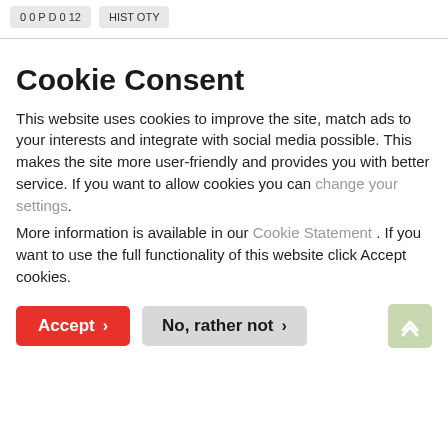[Figure (screenshot): Two small grey buttons at top of page, partially cut off, showing truncated labels]
Cookie Consent
This website uses cookies to improve the site, match ads to your interests and integrate with social media possible. This makes the site more user-friendly and provides you with better service. If you want to allow cookies you can change your settings.
More information is available in our Cookie Statement . If you want to use the full functionality of this website click Accept cookies.